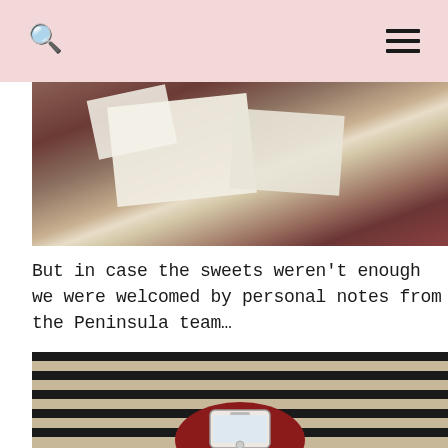[Figure (photo): A dark reddish-brown surface with white paper/envelope shapes visible, partial overhead shot in dim lighting.]
But in case the sweets weren't enough we were welcomed by personal notes from the Peninsula team…
[Figure (photo): Close-up photo of a person wearing a black and white horizontally striped shirt, holding a red handbag/shoe, with a white iPhone displaying a screen visible on top of the red item.]